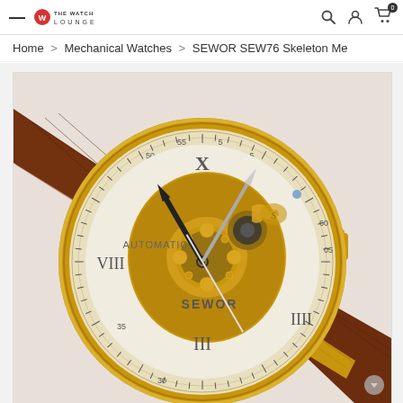THE WATCH LOUNGE — navigation header with hamburger menu, logo, search, account, and cart icons
Home > Mechanical Watches > SEWOR SEW76 Skeleton Me
[Figure (photo): SEWOR SEW76 Skeleton Mechanical watch with gold case, brown leather crocodile-pattern strap, skeleton dial showing gold-colored movement, Roman numerals, and 'AUTOMATIC' and 'SEWOR' text on the dial face]